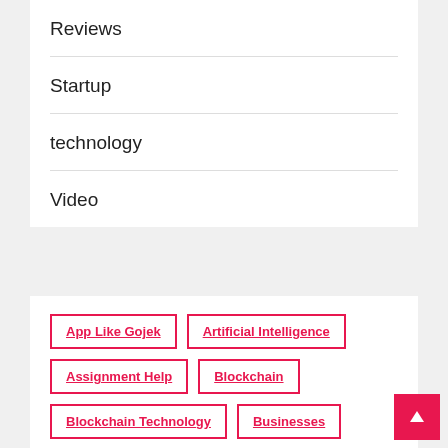Reviews
Startup
technology
Video
App Like Gojek
Artificial Intelligence
Assignment Help
Blockchain
Blockchain Technology
Businesses
Buy Instagram Followers
Content Marketing